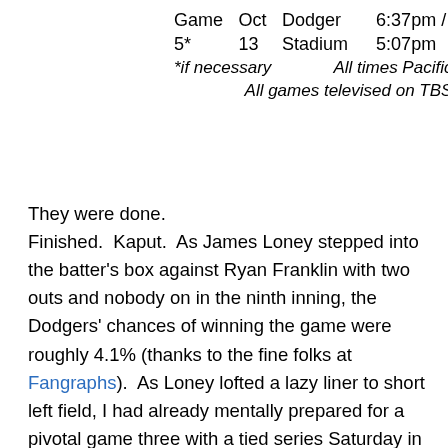| Game | Oct | Dodger | 6:37pm / |
| 5* | 13 | Stadium | 5:07pm |
| *if necessary |  | All times Pacific |  |
|  | All games televised on TBS |  |  |
They were done.
Finished.  Kaput.  As James Loney stepped into the batter's box against Ryan Franklin with two outs and nobody on in the ninth inning, the Dodgers' chances of winning the game were roughly 4.1% (thanks to the fine folks at Fangraphs).  As Loney lofted a lazy liner to short left field, I had already mentally prepared for a pivotal game three with a tied series Saturday in St. Louis.  I have a tradition this season of posting a "We Win" photo, that used to run in the Cheers opening credits, as soon as the game is complete.  If I had a similar "We Lose" graphic, I would have jumped the